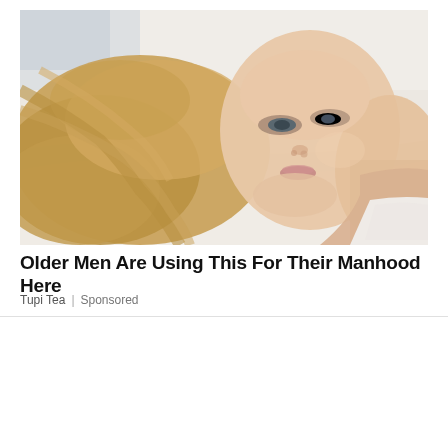[Figure (photo): A blonde woman lying on white bedding, looking at the camera. She has long blonde hair, blue-grey eyes, and fair skin. The setting appears to be a bed with white sheets/pillows.]
Older Men Are Using This For Their Manhood Here
Tupi Tea | Sponsored
[Figure (photo): Advertisement banner showing three Noémie product photos: a brown leather phone crossbody case, a white round Noémie clutch bag, and a white phone wallet case. Brand name NOÉMIE displayed on right side with ad icons.]